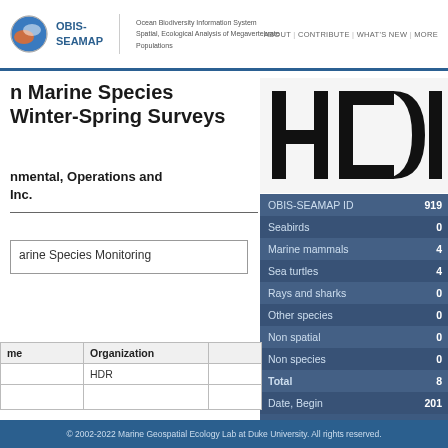OBIS-SEAMAP | Ocean Biodiversity Information System Spatial, Ecological Analysis of Megavertebrate Populations | ABOUT | CONTRIBUTE | WHAT'S NEW | MORE
n Marine Species Winter-Spring Surveys
nmental, Operations and Inc.
arine Species Monitoring
[Figure (logo): HDR logo - large black letters HDR]
|  |  |
| --- | --- |
| OBIS-SEAMAP ID | 919 |
| Seabirds | 0 |
| Marine mammals | 4 |
| Sea turtles | 4 |
| Rays and sharks | 0 |
| Other species | 0 |
| Non spatial | 0 |
| Non species | 0 |
| Total | 8 |
| Date, Begin | 201 |
| me | Organization |  |
| --- | --- | --- |
|  | HDR |  |
|  |  |  |
© 2002-2022 Marine Geospatial Ecology Lab at Duke University. All rights reserved.